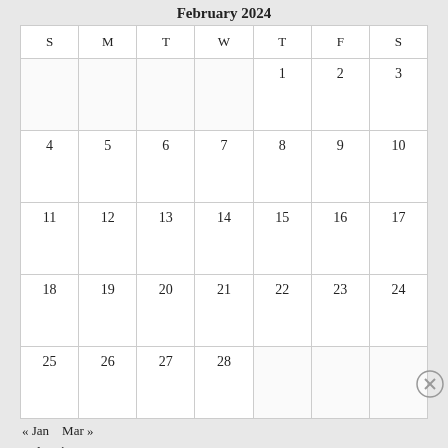February 2024
| S | M | T | W | T | F | S |
| --- | --- | --- | --- | --- | --- | --- |
|  |  |  |  | 1 | 2 | 3 |
| 4 | 5 | 6 | 7 | 8 | 9 | 10 |
| 11 | 12 | 13 | 14 | 15 | 16 | 17 |
| 18 | 19 | 20 | 21 | 22 | 23 | 24 |
| 25 | 26 | 27 | 28 |  |  |  |
« Jan   Mar »
Advertisements
[Figure (illustration): Day One app advertisement banner: blue background with DAY ONE logo text, three app icons, and text 'The only journaling app you'll ever need.']